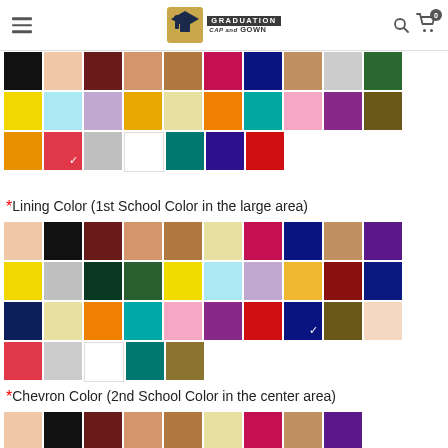[Figure (logo): Graduation Cap and Gown logo with graduation figure icon]
[Figure (infographic): Color swatch grid - top section with various graduation gown colors, red swatch selected]
* Lining Color (1st School Color in the large area)
[Figure (infographic): Color swatch grid - lining color options, navy/dark blue swatch selected]
* Chevron Color (2nd School Color in the center area)
[Figure (infographic): Color swatch grid - chevron color options, partial row visible at bottom]